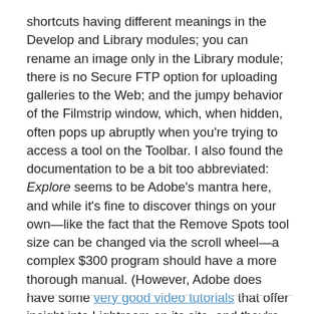shortcuts having different meanings in the Develop and Library modules; you can rename an image only in the Library module; there is no Secure FTP option for uploading galleries to the Web; and the jumpy behavior of the Filmstrip window, which, when hidden, often pops up abruptly when you're trying to access a tool on the Toolbar. I also found the documentation to be a bit too abbreviated: Explore seems to be Adobe's mantra here, and while it's fine to discover things on your own—like the fact that the Remove Spots tool size can be changed via the scroll wheel—a complex $300 program should have a more thorough manual. (However, Adobe does have some very good video tutorials that offer insight into Lightroom on its site, and they're worth watching.)